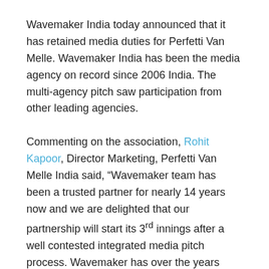Wavemaker India today announced that it has retained media duties for Perfetti Van Melle. Wavemaker India has been the media agency on record since 2006 India. The multi-agency pitch saw participation from other leading agencies.
Commenting on the association, Rohit Kapoor, Director Marketing, Perfetti Van Melle India said, “Wavemaker team has been a trusted partner for nearly 14 years now and we are delighted that our partnership will start its 3rd innings after a well contested integrated media pitch process. Wavemaker has over the years played a significant role in our success and we hope this innings will be an equally good one for both of us.”
Speaking on the retention, Ajay Gupte, CEO – South Asia, Wavemaker expressed, “We are extremely thrilled to renew